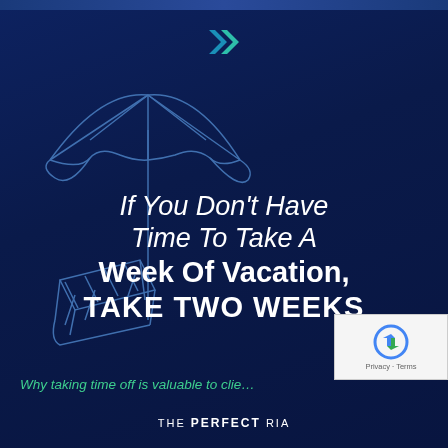[Figure (logo): The Perfect RIA double-chevron logo in teal/blue gradient at top center]
[Figure (illustration): Line art illustration of a beach umbrella and lounge chair in blue outline style on dark navy background]
If You Don't Have Time To Take A Week Of Vacation, TAKE TWO WEEKS
Why taking time off is valuable to clie[nts]
THE PERFECT RIA